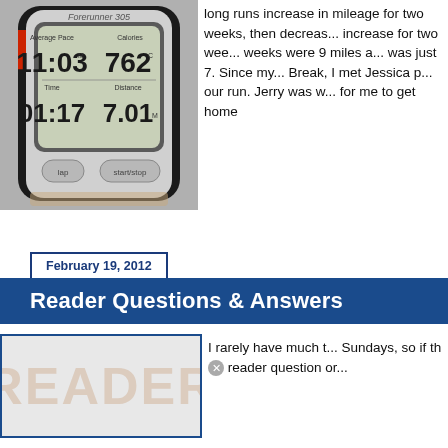[Figure (photo): Garmin Forerunner 305 GPS watch showing Average Pace 11:03, Calories 762, Time 01:17, Distance 7.01]
long runs increase in mileage for two weeks, then decrease one week, then increase for two weeks, etc. My last weeks were 9 miles and this week was just 7. Since my run was Spring Break, I met Jessica p... our run. Jerry was w... for me to get home
February 19, 2012
Reader Questions & Answers
[Figure (screenshot): Image with large watermark text READER]
I rarely have much t... Sundays, so if thⓧ reader question or...